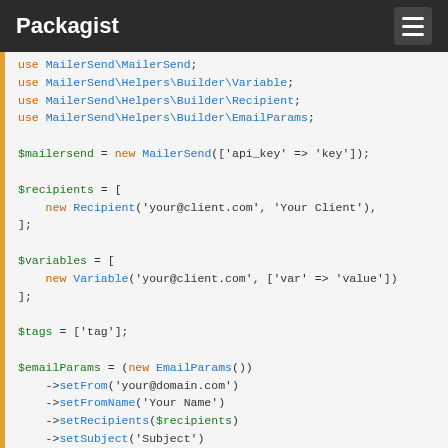Packagist
use MailerSend\MailerSend;
use MailerSend\Helpers\Builder\Variable;
use MailerSend\Helpers\Builder\Recipient;
use MailerSend\Helpers\Builder\EmailParams;

$mailersend = new MailerSend(['api_key' => 'key']);

$recipients = [
    new Recipient('your@client.com', 'Your Client'),
];

$variables = [
    new Variable('your@client.com', ['var' => 'value'])
];

$tags = ['tag'];

$emailParams = (new EmailParams())
    ->setFrom('your@domain.com')
    ->setFromName('Your Name')
    ->setRecipients($recipients)
    ->setSubject('Subject')
    ->setTemplateId('ss243wdasd')